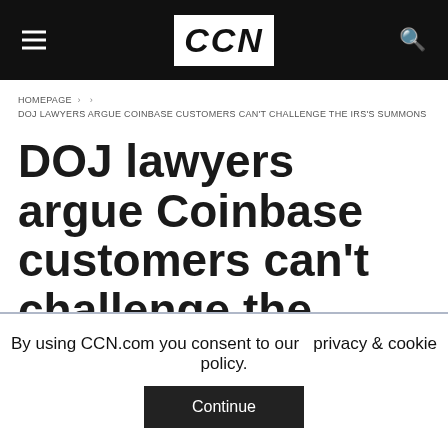CCN
HOMEPAGE > > DOJ LAWYERS ARGUE COINBASE CUSTOMERS CAN'T CHALLENGE THE IRS'S SUMMONS
DOJ lawyers argue Coinbase customers can't challenge the IRS's summons
By using CCN.com you consent to our  privacy & cookie policy.
Continue